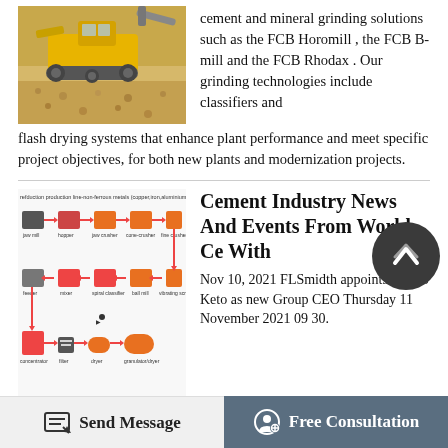[Figure (photo): Yellow mining bulldozer/crawler machine on gravel ground, industrial mining equipment]
cement and mineral grinding solutions such as the FCB Horomill , the FCB B-mill and the FCB Rhodax . Our grinding technologies include classifiers and flash drying systems that enhance plant performance and meet specific project objectives, for both new plants and modernization projects.
[Figure (engineering-diagram): Production line flow diagram for non-ferrous metals (copper, iron, aluminium/ore) showing three rows of processing equipment connected by arrows: Row 1 (left to right): jaw mill, hopper, jaw crusher, cone-crusher, fine crusher. Row 2 (right to left): vibrating screen, ball mill, spiral classifier, mixer, feeder. Row 3 (left to right): concentrator, filter, dryer, granulator/dryer.]
Cement Industry News And Events From World Ce With
Nov 10, 2021 FLSmidth appoints Mikko Keto as new Group CEO Thursday 11 November 2021 09 30.
Thomas Schulz, FLSmidth’s Group CEO, has made the decision to take a role outside of the company, and will therefore step down as FLSmidth’s CEO by end of 2021.
Send Message
Free Consultation